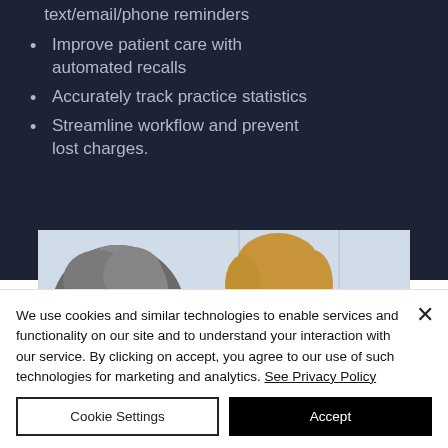text/email/phone reminders
Improve patient care with automated recalls
Accurately track practice statistics
Streamline workflow and prevent lost charges.
[Figure (photo): A healthcare professional (woman with blonde hair) speaking with a patient (person with gray hair, seen from behind) in a clinical setting.]
We use cookies and similar technologies to enable services and functionality on our site and to understand your interaction with our service. By clicking on accept, you agree to our use of such technologies for marketing and analytics. See Privacy Policy
Cookie Settings
Accept